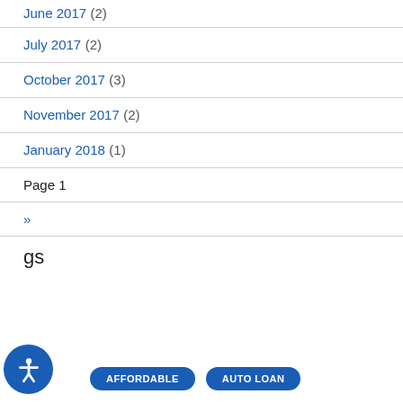June 2017 (2)
July 2017 (2)
October 2017 (3)
November 2017 (2)
January 2018 (1)
Page 1
»
Tags
AFFORDABLE  AUTO LOAN